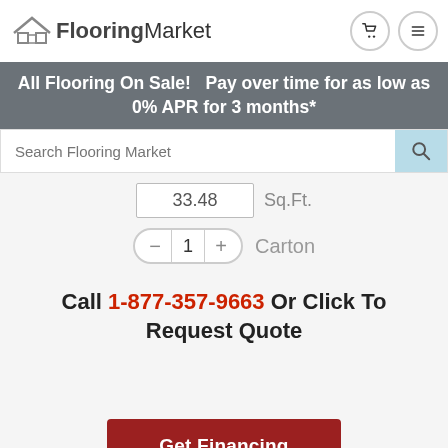[Figure (logo): FlooringMarket logo with house icon]
All Flooring On Sale!   Pay over time for as low as 0% APR for 3 months*
Search Flooring Market
33.48   Sq.Ft.
− 1 +  Carton
Call 1-877-357-9663 Or Click To Request Quote
Get Financing